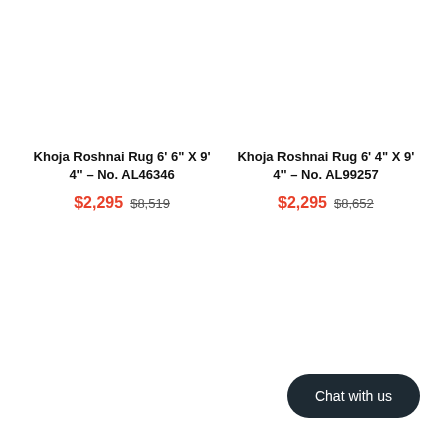Khoja Roshnai Rug 6' 6" X 9' 4" – No. AL46346
$2,295 $8,519
Khoja Roshnai Rug 6' 4" X 9' 4" – No. AL99257
$2,295 $8,652
Chat with us